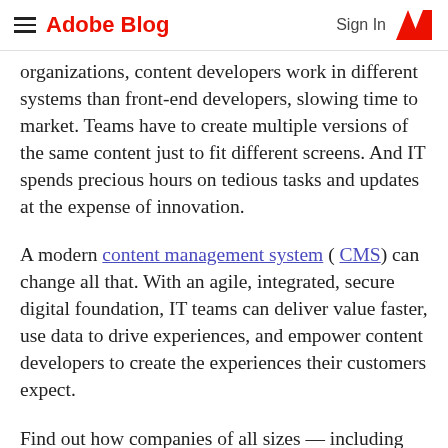Adobe Blog  Sign In
organizations, content developers work in different systems than front-end developers, slowing time to market. Teams have to create multiple versions of the same content just to fit different screens. And IT spends precious hours on tedious tasks and updates at the expense of innovation.
A modern content management system ( CMS) can change all that. With an agile, integrated, secure digital foundation, IT teams can deliver value faster, use data to drive experiences, and empower content developers to create the experiences their customers expect.
Find out how companies of all sizes — including